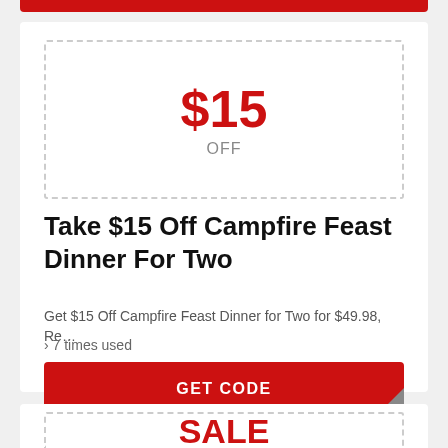[Figure (other): Red button/bar at the top of the page, partially cropped]
$15 OFF
Take $15 Off Campfire Feast Dinner For Two
Get $15 Off Campfire Feast Dinner for Two for $49.98, Re…
› 7 times used
GET CODE
SALE